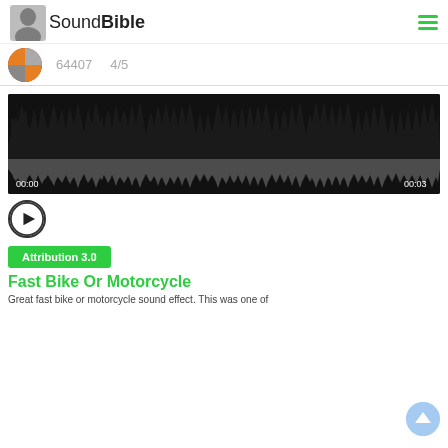SoundBible
[Figure (screenshot): Thumbnail image circular with orange/brown tones next to stats 64407 and 4/5 rating]
64407    4/5
[Figure (other): Audio waveform visualization on black background showing a dense spiky waveform in black (upper) and gray reflection (lower), with timestamps 00:00 on left and 00:03 on right]
[Figure (other): Circular play button with right-pointing triangle]
Attribution 3.0
Fast Bike Or Motorcycle
Great fast bike or motorcycle sound effect. This was one of